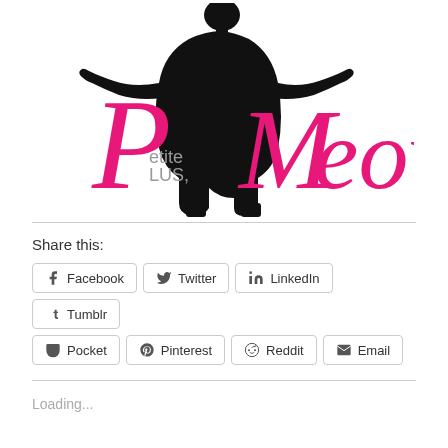[Figure (logo): Petite Plus Meow! logo with female silhouette in black and pink/magenta lettering]
Share this:
Facebook
Twitter
LinkedIn
Tumblr
Pocket
Pinterest
Reddit
Email
Loading...